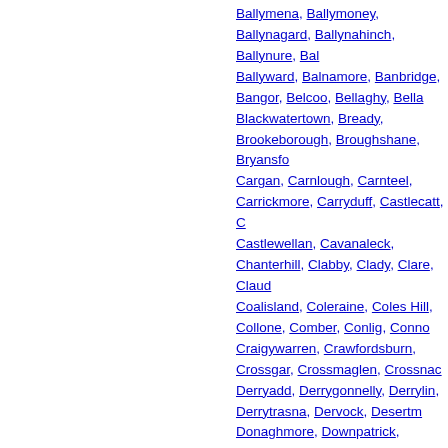Ballymena, Ballymoney, Ballynagard, Ballynahinch, Ballynure, Ballyward, Balnamore, Banbridge, Bangor, Belcoo, Bellaghy, Blackwatertown, Bready, Brookeborough, Broughshane, Bryansford, Cargan, Carnlough, Carnteel, Carrickmore, Carryduff, Castlecatt, Castlewellan, Cavanaleck, Chanterhill, Clabby, Clady, Clare, Claudy, Coalisland, Coleraine, Coles Hill, Collone, Comber, Conlig, Connolly, Craigywarren, Crawfordsburn, Crossgar, Crossmaglen, Crossnacreevy, Derryadd, Derrygonnelly, Derrylin, Derrytrasna, Dervock, Desertmartin, Donaghmore, Downpatrick, Draperstown, Dromara, Dromore, Drumharvey, Drumlyon, Drumquin, Dunadry, Dunamanagh, Dundonald, Dunseverick, Ederney, Eglinton, Enniskillen, Eskra, Finaghy, Fintona, Garvetagh, Gawleys Gate, Gilford, Gilnahirk, Glenarm, Glenavy, Greysteel, Groomsport, Hamiltonsbawn, Hannahstown, Helens Bay, Islandmagee, Katesbridge, Keady, Kells, Kesh, Kilkeel, Killeavy, Kilroot, Kilwaughter, Kinawley, Kircubbin, Knock, Knockbreda, Laurencetown, Legahory, Limavady, Lisbellaw, Lisburn, Liscolman, Loughmacrory, Lurgan, Macosquin, Maghera, Magherafelt, Markethill, Martinstown, Mayobridge, Middletown, Milford, Millbrook, Mountfield, Mournebeg, Mowhan, Moy, Moyarget, Moygashel, Newcastle, Newry, Newtown Crommelin, Newtownabbey, Newtownstewart, Nutts Corner, Omagh, Ormeau, Parkgate, Plumbridge, Portglenone, Portrush, Portstewart, Randalstown, Rasharkin, Rathmulan, Saintfield, Scarva, Seapatrick, Seskanore, Seskilgreen, Silverhill, Strabane, Straid, Strangford, Stranmillis, Stranocum, Strathfoyle, Tassagh, Templepatrick, Tempo, The Collon, Tobermore, Toomebridg, Urbalreagh, Victoria Bridge, Waringstown, Warrenpoint, Whitehead